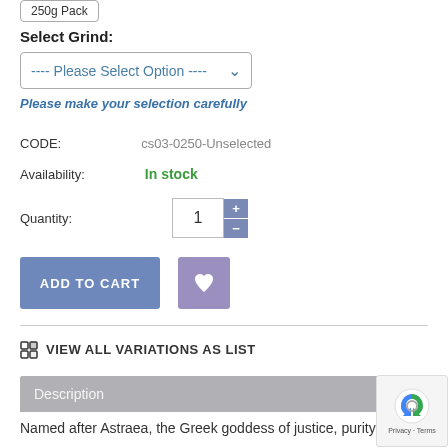250g Pack
Select Grind:
---- Please Select Option ----
Please make your selection carefully
CODE:   cs03-0250-Unselected
Availability:   In stock
Quantity:   1
ADD TO CART
VIEW ALL VARIATIONS AS LIST
Description
Named after Astraea, the Greek goddess of justice, purity